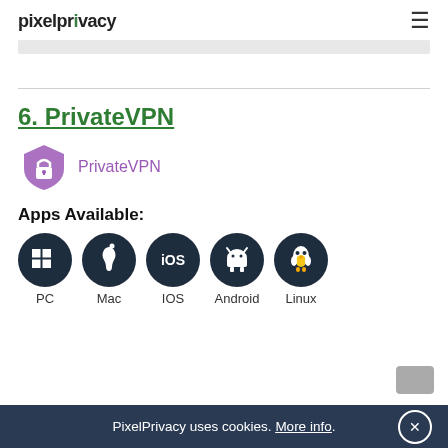pixelprivacy
6. PrivateVPN
[Figure (logo): PrivateVPN logo: purple shield with lock icon and text 'PrivateVPN']
Apps Available:
[Figure (illustration): Five dark circular icons for PC (Windows), Mac (Apple), iOS, Android, and Linux platforms]
PC   Mac   IOS   Android   Linux
PixelPrivacy uses cookies. More info.